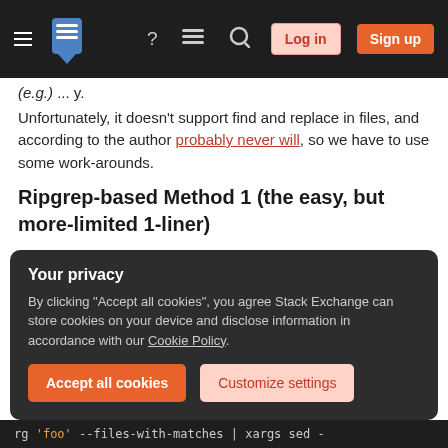[Figure (screenshot): Stack Exchange navigation bar with hamburger menu, logo, help icon, chat icon, search icon, Log in button, and Sign up button on dark background]
(e.g.) ... y.
Unfortunately, it doesn't support find and replace in files, and according to the author probably never will, so we have to use some work-arounds.
Ripgrep-based Method 1 (the easy, but more-limited 1-liner)
Here is the first work-around:
https://github.com/BurntSushi/ripgrep/issues/74#issuecomment-376659557
Your privacy
By clicking "Accept all cookies", you agree Stack Exchange can store cookies on your device and disclose information in accordance with our Cookie Policy.
rg 'foo' --files-with-matches | xargs sed -